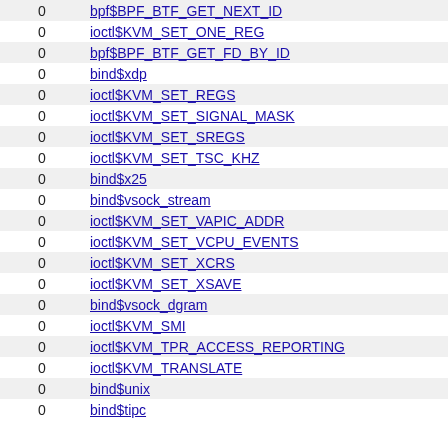| 0 | function |
| --- | --- |
| 0 | bpf$BPF_BTF_GET_NEXT_ID |
| 0 | ioctl$KVM_SET_ONE_REG |
| 0 | bpf$BPF_BTF_GET_FD_BY_ID |
| 0 | bind$xdp |
| 0 | ioctl$KVM_SET_REGS |
| 0 | ioctl$KVM_SET_SIGNAL_MASK |
| 0 | ioctl$KVM_SET_SREGS |
| 0 | ioctl$KVM_SET_TSC_KHZ |
| 0 | bind$x25 |
| 0 | bind$vsock_stream |
| 0 | ioctl$KVM_SET_VAPIC_ADDR |
| 0 | ioctl$KVM_SET_VCPU_EVENTS |
| 0 | ioctl$KVM_SET_XCRS |
| 0 | ioctl$KVM_SET_XSAVE |
| 0 | bind$vsock_dgram |
| 0 | ioctl$KVM_SMI |
| 0 | ioctl$KVM_TPR_ACCESS_REPORTING |
| 0 | ioctl$KVM_TRANSLATE |
| 0 | bind$unix |
| 0 | bind$tipc |